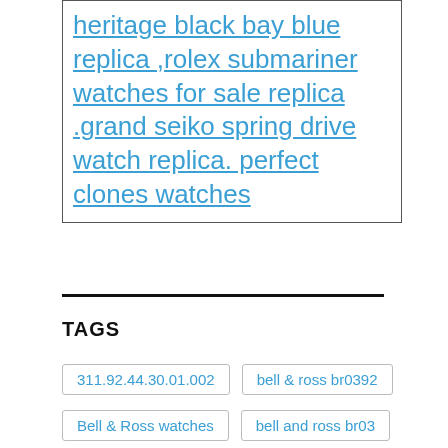heritage black bay blue replica ,rolex submariner watches for sale replica .grand seiko spring drive watch replica. perfect clones watches
TAGS
311.92.44.30.01.002
bell & ross br0392
Bell & Ross watches
bell and ross br03